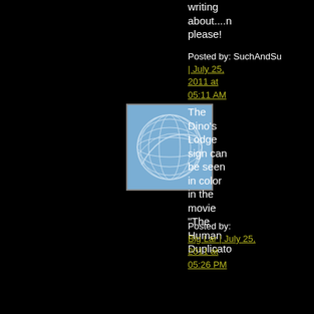writing about....n please!
Posted by: SuchAndSu | July 25, 2011 at 05:11 AM
[Figure (illustration): Blue square avatar icon with geometric sphere/globe line art pattern on light blue background]
The Dino's Lodge sign can be seen in color in the movie "The Human Duplicato
Posted by: Big Lar | July 25, 2011 at 05:26 PM